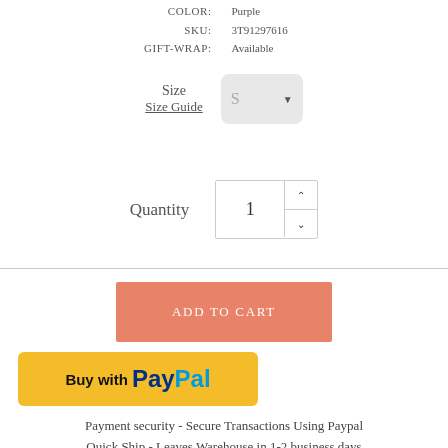COLOR: Purple
SKU: 3T91297616
GIFT-WRAP: Available
Size
Size Guide
Quantity  1
[Figure (other): Add to Cart button in salmon/coral color]
[Figure (other): Buy with PayPal button in yellow]
Payment security - Secure Transactions Using Paypal
Quick Ship - Leaves Warehouse in 1-2 business days
Return policy - 30 Days Free Exchange & Return Policy